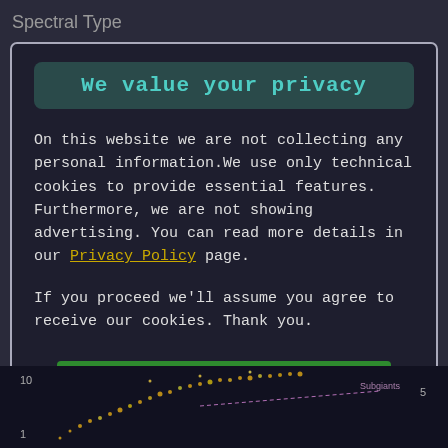Spectral Type
We value your privacy
On this website we are not collecting any personal information.We use only technical cookies to provide essential features. Furthermore, we are not showing advertising. You can read more details in our Privacy Policy page.
If you proceed we'll assume you agree to receive our cookies. Thank you.
Proceed to TheSkyLive.com
[Figure (continuous-plot): Bottom portion of a scatter/density plot showing spectral type data with colorful dots and labeled subgiants line, partially visible at the bottom of the page.]